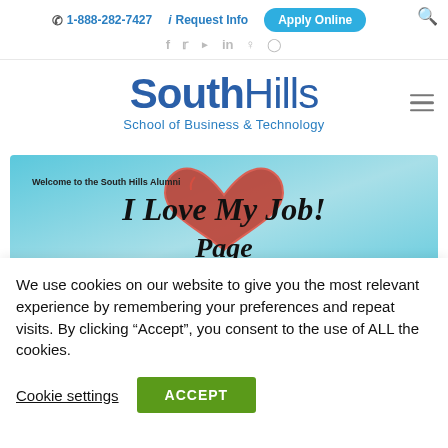1-888-282-7427  Request Info  Apply Online
[Figure (logo): South Hills School of Business & Technology logo with navigation menu icon]
[Figure (illustration): Welcome to the South Hills Alumni I Love My Job! Page banner with light blue background and red heart graphic]
We use cookies on our website to give you the most relevant experience by remembering your preferences and repeat visits. By clicking “Accept”, you consent to the use of ALL the cookies.
Cookie settings  ACCEPT